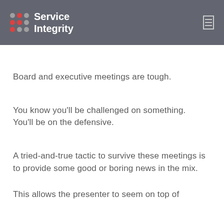Service Integrity
Board and executive meetings are tough.
You know you'll be challenged on something. You'll be on the defensive.
A tried-and-true tactic to survive these meetings is to provide some good or boring news in the mix.
This allows the presenter to seem on top of